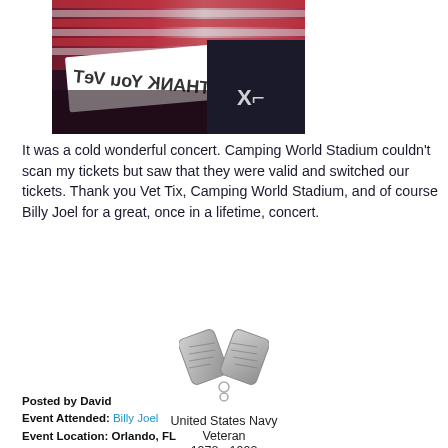[Figure (photo): Photo of a person holding a sign that reads 'Thank You Vet' (mirrored/reversed text visible), with an American flag in the background and someone in a black shirt with letters visible.]
It was a cold wonderful concert. Camping World Stadium couldn't scan my tickets but saw that they were valid and switched our tickets. Thank you Vet Tix, Camping World Stadium, and of course Billy Joel for a great, once in a lifetime, concert.
[Figure (illustration): Military dog tags icon forming a V shape, silver metallic appearance.]
United States Navy
Veteran
1978 - 1992
Posted by David
Event Attended: Billy Joel
Event Location: Orlando, FL